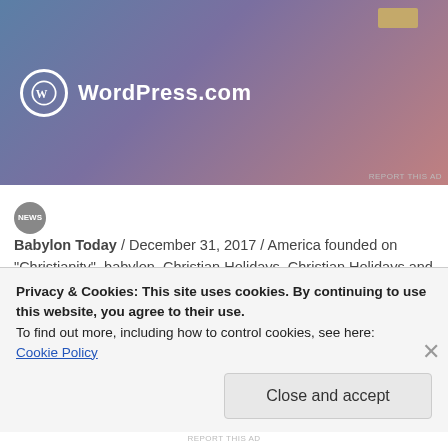[Figure (logo): WordPress.com advertisement banner with gradient blue-purple-pink background, WordPress logo (circle with W), and text WordPress.com]
Babylon Today / December 31, 2017 / America founded on "Christianity", babylon, Christian Holidays, Christian Holidays and how they are celebrated, christianity, Homeosexuality, LGBT, sins against nature, transgender, Uncategorized, United States of America, USA / A Drag Queen Christmas, abomination in the Unitd States, babylon, Christ in the Wild Ministries, Christmas in the United States, drag queen, El Paso Texas, Evangelist
Privacy & Cookies: This site uses cookies. By continuing to use this website, you agree to their use.
To find out more, including how to control cookies, see here: Cookie Policy
Close and accept